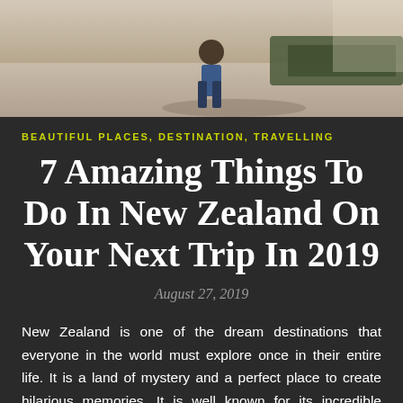[Figure (photo): Top portion of a photo showing a person near a boat or vehicle on a gravel/sandy surface outdoors in bright sunlight]
BEAUTIFUL PLACES, DESTINATION, TRAVELLING
7 Amazing Things To Do In New Zealand On Your Next Trip In 2019
August 27, 2019
New Zealand is one of the dream destinations that everyone in the world must explore once in their entire life. It is a land of mystery and a perfect place to create hilarious memories. It is well known for its incredible scenery, mouth-watering food, golden sand beaches, gigantic glaciers, excellent museums, chilled-out backpacker hostels, picturesque landscape, magnificent